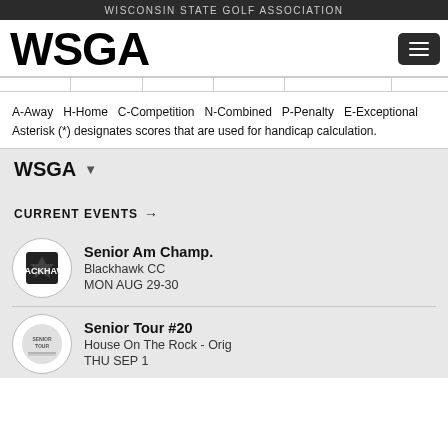WISCONSIN STATE GOLF ASSOCIATION
[Figure (logo): WSGA logo in large bold black text and hamburger menu button]
A-Away  H-Home  C-Competition  N-Combined  P-Penalty  E-Exceptional
Asterisk (*) designates scores that are used for handicap calculation.
WSGA
CURRENT EVENTS →
Senior Am Champ.
Blackhawk CC
MON AUG 29-30
Senior Tour #20
House On The Rock - Orig
THU SEP 1